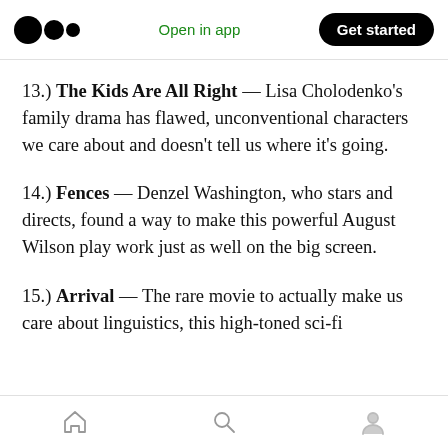Medium app navigation bar with logo, Open in app, Get started
13.) The Kids Are All Right — Lisa Cholodenko's family drama has flawed, unconventional characters we care about and doesn't tell us where it's going.
14.) Fences — Denzel Washington, who stars and directs, found a way to make this powerful August Wilson play work just as well on the big screen.
15.) Arrival — The rare movie to actually make us care about linguistics, this high-toned sci-fi
Home, Search, Profile tab bar icons